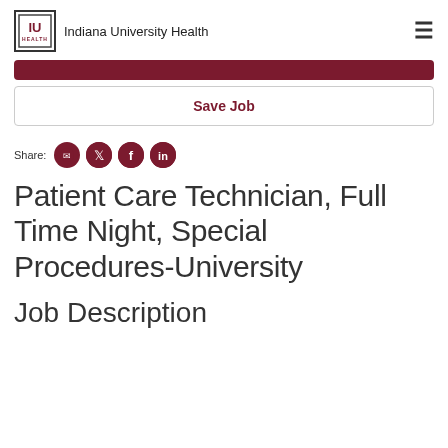Indiana University Health
[Figure (other): Dark red rounded rectangle button (Apply button, partially cropped)]
[Figure (other): Save Job button with dark red text and border]
Share: [email icon] [twitter icon] [facebook icon] [linkedin icon]
Patient Care Technician, Full Time Night, Special Procedures-University
Job Description